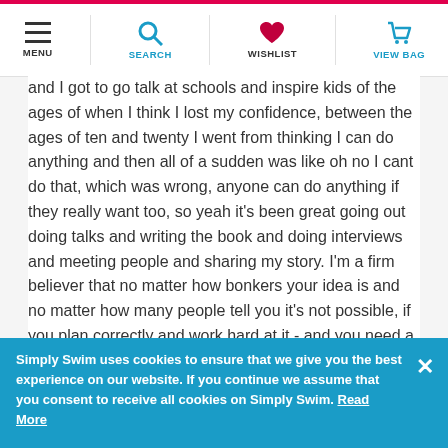MENU | SEARCH | WISHLIST | VIEW BAG
and I got to go talk at schools and inspire kids of the ages of when I think I lost my confidence, between the ages of ten and twenty I went from thinking I can do anything and then all of a sudden was like oh no I cant do that, which was wrong, anyone can do anything if they really want too, so yeah it's been great going out doing talks and writing the book and doing interviews and meeting people and sharing my story. I'm a firm believer that no matter how bonkers your idea is and no matter how many people tell you it's not possible, if you plan correctly and work hard at it - and you need a little bit of luck obviously, like I had with the weather this summer - anything is possible really.
← BACK TO BLOG
Simply Swim uses cookies to ensure that we give you the best experience on our website. If you continue we assume that you consent to receive all cookies on Simply Swim. Read More